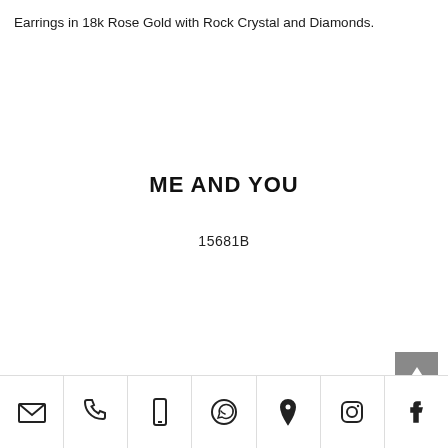Earrings in 18k Rose Gold with Rock Crystal and Diamonds.
ME AND YOU
15681B
[Figure (other): Grey square scroll-to-top button with upward arrow icon]
Footer icon bar with email, phone, mobile, whatsapp, location, instagram, facebook icons